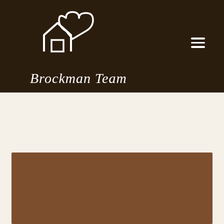[Figure (logo): Brockman Team real estate logo: white outline of a house combined with a heart/cloud shape forming the letter B, with cursive 'Brockman Team' text below, on a dark brown background header]
[Figure (other): Brown rectangular content block/image placeholder in the lower portion of the page]